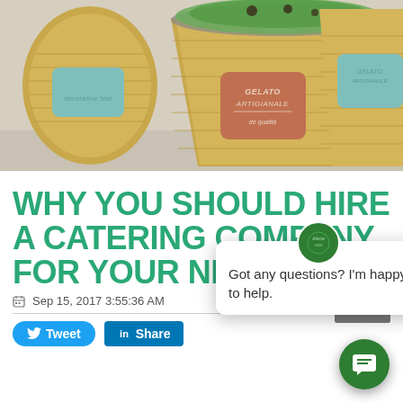[Figure (photo): Hero image showing gelato/food packaging containers with decorative labels in teal and terracotta colors, with golden/wooden textured cups on a marble surface]
WHY YOU SHOULD HIRE A CATERING COMPANY FOR YOUR NEXT EVENT
Sep 15, 2017 3:55:36 AM
[Figure (screenshot): Chat widget popup overlay showing a circular green logo at the top, a close X button, and text 'Got any questions? I'm happy to help.' A green circular chat FAB button is in the bottom right corner.]